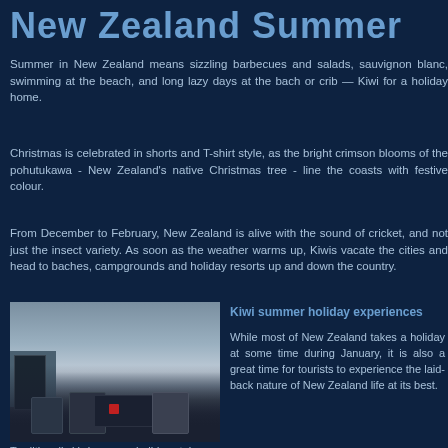New Zealand Summer
Summer in New Zealand means sizzling barbecues and salads, sauvignon blanc, swimming at the beach, and long lazy days at the bach or crib — Kiwi for a holiday home.
Christmas is celebrated in shorts and T-shirt style, as the bright crimson blooms of the pohutukawa - New Zealand's native Christmas tree - line the coasts with festive colour.
From December to February, New Zealand is alive with the sound of cricket, and not just the insect variety. As soon as the weather warms up, Kiwis vacate the cities and head to baches, campgrounds and holiday resorts up and down the country.
[Figure (photo): Outdoor deck with patio furniture including chairs and a table overlooking the sea on a cloudy day]
Kiwi summer holiday experiences
While most of New Zealand takes a holiday at some time during January, it is also a great time for tourists to experience the laid-back nature of New Zealand life at its best.
Traditionally kiwi summer holidays tak